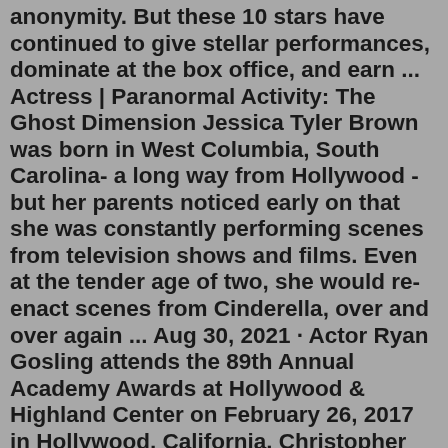anonymity. But these 10 stars have continued to give stellar performances, dominate at the box office, and earn ... Actress | Paranormal Activity: The Ghost Dimension Jessica Tyler Brown was born in West Columbia, South Carolina- a long way from Hollywood - but her parents noticed early on that she was constantly performing scenes from television shows and films. Even at the tender age of two, she would re-enact scenes from Cinderella, over and over again ... Aug 30, 2021 · Actor Ryan Gosling attends the 89th Annual Academy Awards at Hollywood & Highland Center on February 26, 2017 in Hollywood, California. Christopher Polk/Getty Images. Ryan Gosling is known for ... Here are some child actors who retired early and some who stuck with acting: 1. Retired early: Jennette McCurdy. Jon Kopaloff / FilmMagic via Getty Images. You may know her from iCarly and Sam & Cat.Oct 27, 2017 · I Was a Child Actress in Hollywood. There Were Always Whispers. ... ad guys in the room—brioche-shaped men in Tommy Bahama shirts feeling free to try out their